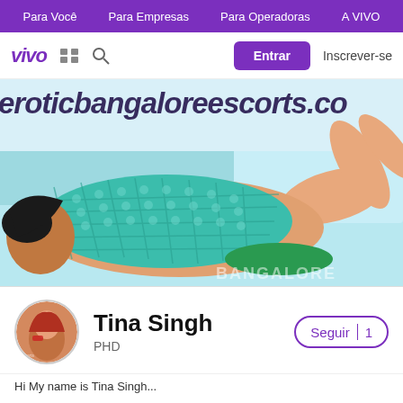Para Você  Para Empresas  Para Operadoras  A VIVO
vivo  [grid icon]  [search icon]  Entrar  Inscrever-se
[Figure (photo): Hero banner image showing a woman lying down wearing a teal mesh/crochet top near a pool. Watermark text reads 'eroticbangaloreescorts.co' across the top. 'BANGALORE' text visible at bottom right.]
Tina Singh
PHD
Seguir | 1
Hi My name is Tina Singh...